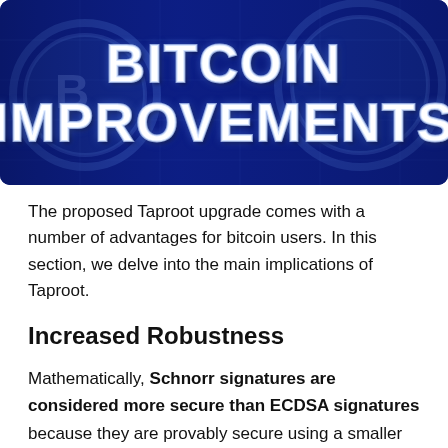[Figure (illustration): Dark blue banner with Bitcoin coin imagery in background, large bold white text reading BITCOIN IMPROVEMENTS]
The proposed Taproot upgrade comes with a number of advantages for bitcoin users. In this section, we delve into the main implications of Taproot.
Increased Robustness
Mathematically, Schnorr signatures are considered more secure than ECDSA signatures because they are provably secure using a smaller number of assumptions.